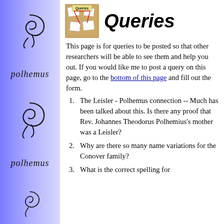[Figure (illustration): Blue gradient sidebar with decorative calligraphic script 'polhemus' repeated and ornamental swirl designs]
[Figure (illustration): Cork board icon with 'Queries' text and pinned notes]
Queries
This page is for queries to be posted so that other researchers will be able to see them and help you out. If you would like me to post a query on this page, go to the bottom of this page and fill out the form.
The Leisler - Polhemus connection -- Much has been talked about this. Is there any proof that Rev. Johannes Theodorus Polhemius's mother was a Leisler?
Why are there so many name variations for the Conover family?
What is the correct spelling for